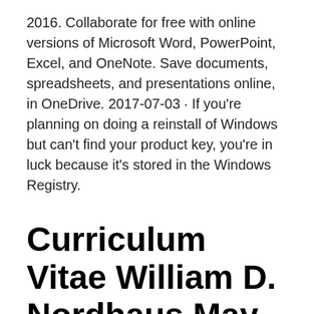2016. Collaborate for free with online versions of Microsoft Word, PowerPoint, Excel, and OneNote. Save documents, spreadsheets, and presentations online, in OneDrive. 2017-07-03 · If you're planning on doing a reinstall of Windows but can't find your product key, you're in luck because it's stored in the Windows Registry.
Curriculum Vitae William D. Nordhaus May 2010
Label Making Label Tapes & Cartridges Business & Industrial Office Office Compatible Brand: □ Brother P-touch TZ Series Label Tape□ MPN: □ Does Not